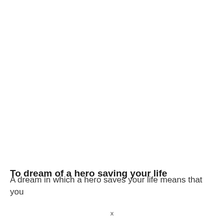To dream of a hero saving your life
A dream in which a hero saves your life means that you
x